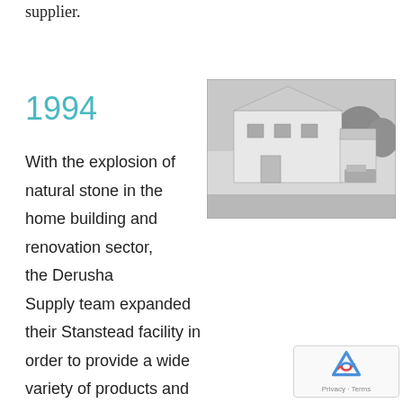supplier.
1994
[Figure (photo): Black and white photograph of the Derusha Supply building in Stanstead — a white two-story barn-style commercial building with vehicles parked outside and trees in the background.]
With the explosion of natural stone in the home building and renovation sector, the Derusha Supply team expanded their Stanstead facility in order to provide a wide variety of products and maintain the excellence